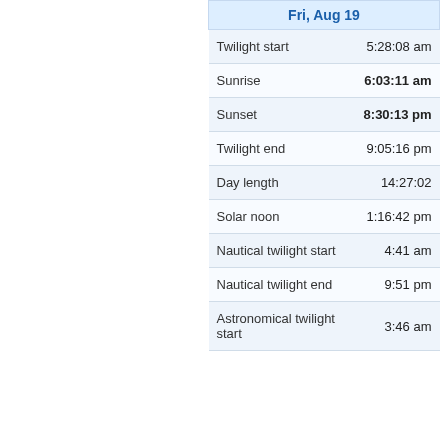| Fri, Aug 19 |  |
| --- | --- |
| Twilight start | 5:28:08 am |
| Sunrise | 6:03:11 am |
| Sunset | 8:30:13 pm |
| Twilight end | 9:05:16 pm |
| Day length | 14:27:02 |
| Solar noon | 1:16:42 pm |
| Nautical twilight start | 4:41 am |
| Nautical twilight end | 9:51 pm |
| Astronomical twilight start | 3:46 am |